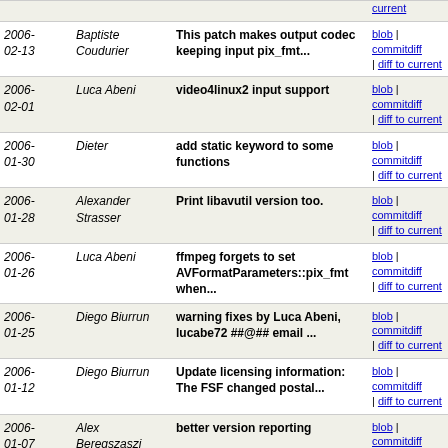| Date | Author | Commit message | Links |
| --- | --- | --- | --- |
|  |  |  | diff to current |
| 2006-02-13 | Baptiste Coudurier | This patch makes output codec keeping input pix_fmt... | blob | commitdiff | diff to current |
| 2006-02-01 | Luca Abeni | video4linux2 input support | blob | commitdiff | diff to current |
| 2006-01-30 | Dieter | add static keyword to some functions | blob | commitdiff | diff to current |
| 2006-01-28 | Alexander Strasser | Print libavutil version too. | blob | commitdiff | diff to current |
| 2006-01-26 | Luca Abeni | ffmpeg forgets to set AVFormatParameters::pix_fmt when... | blob | commitdiff | diff to current |
| 2006-01-25 | Diego Biurrun | warning fixes by Luca Abeni, lucabe72 ##@## email ... | blob | commitdiff | diff to current |
| 2006-01-12 | Diego Biurrun | Update licensing information: The FSF changed postal... | blob | commitdiff | diff to current |
| 2006-01-07 | Alex Beregszaszi | better version reporting | blob | commitdiff | diff to current |
| 2005-12-29 | Robert Swain | update x264 wrapper. | blob | commitdiff | diff to current |
| 2005-12-28 | Michael Niedermayer | iterative overlapped block based motion estimation... | blob | commitdiff | diff to |